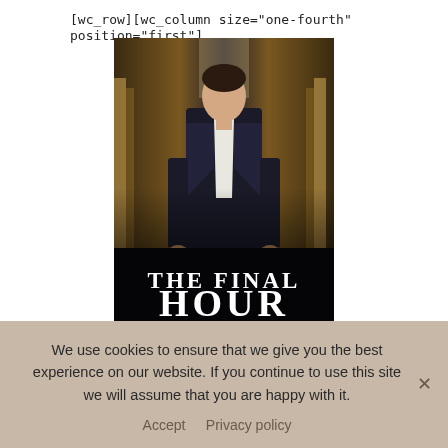[wc_row][wc_column size="one-fourth" position="first"]
[Figure (illustration): Book cover for 'The Final Hour – A Dublin Nights Novel' by Brittney Sahin. Shows a man in a dark suit against an ornate interior background. Title text at bottom reads 'THE FINAL HOUR', subtitle 'A DUBLIN NIGHTS NOVEL', author 'BRITTNEY SAHIN'.]
We use cookies to ensure that we give you the best experience on our website. If you continue to use this site we will assume that you are happy with it.
Accept   Privacy policy